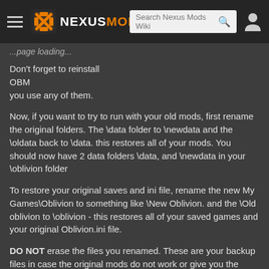NEXUS MODS
Don't forget to reinstall OBM... you use any of them.
Now, if you want to try to run with your old mods, first rename the original folders. The \data folder to \newdata and the \oldata back to \data. this restores all of your mods. You should now have 2 data folders \data, and \newdata in your \oblivion folder
To restore your original saves and ini file, rename the new My Games\Oblivion to something like \New Oblivion. and the \Old oblivion to \oblivion - this restores all of your saved games and your original Oblivion.ini file.
DO NOT erase the files you renamed. These are your backup files in case the original mods do not work or give you the same problem.
If you have the same problem, it is most likely caused by a mod. However, if you followed the instructions, you now have a clean install to fall back on. You can You can COPY (NOT ...